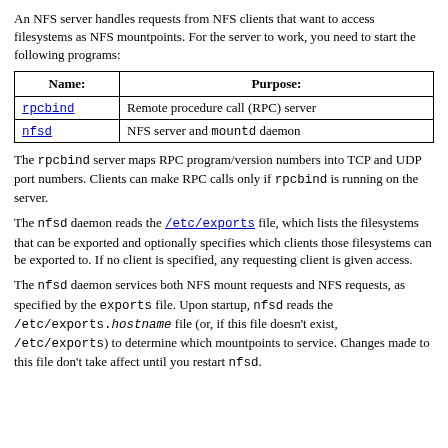An NFS server handles requests from NFS clients that want to access filesystems as NFS mountpoints. For the server to work, you need to start the following programs:
| Name: | Purpose: |
| --- | --- |
| rpcbind | Remote procedure call (RPC) server |
| nfsd | NFS server and mountd daemon |
The rpcbind server maps RPC program/version numbers into TCP and UDP port numbers. Clients can make RPC calls only if rpcbind is running on the server.
The nfsd daemon reads the /etc/exports file, which lists the filesystems that can be exported and optionally specifies which clients those filesystems can be exported to. If no client is specified, any requesting client is given access.
The nfsd daemon services both NFS mount requests and NFS requests, as specified by the exports file. Upon startup, nfsd reads the /etc/exports.hostname file (or, if this file doesn't exist, /etc/exports) to determine which mountpoints to service. Changes made to this file don't take affect until you restart nfsd.